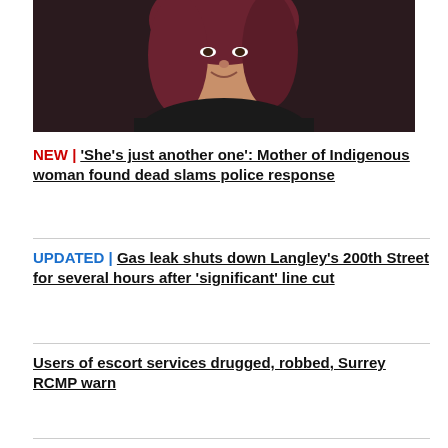[Figure (photo): Portrait of a young woman with dark red/burgundy hair, wearing a black leather jacket, smiling slightly against a dark background.]
NEW | 'She's just another one': Mother of Indigenous woman found dead slams police response
UPDATED | Gas leak shuts down Langley's 200th Street for several hours after 'significant' line cut
Users of escort services drugged, robbed, Surrey RCMP warn